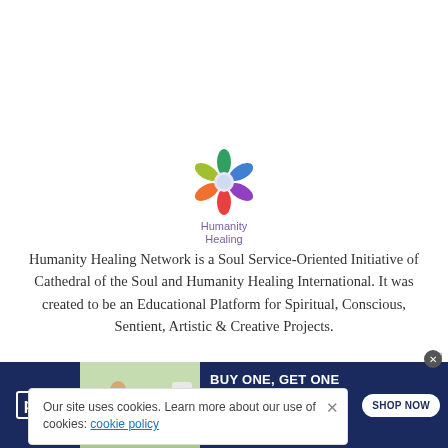[Figure (logo): Humanity Healing logo — a colorful star/flower shape with rainbow petals and a light center, above the text 'Humanity Healing' in purple]
Humanity Healing Network is a Soul Service-Oriented Initiative of Cathedral of the Soul and Humanity Healing International. It was created to be an Educational Platform for Spiritual, Conscious, Sentient, Artistic & Creative Projects.
Our site uses cookies. Learn more about our use of cookies: cookie policy
[Figure (illustration): Petco advertisement banner: woman with golden retriever dog and supplement product. Text: BUY ONE, GET ONE 50% OFF. Help support your dog's joints with a premium supplement. SHOP NOW button. Petco logo.]